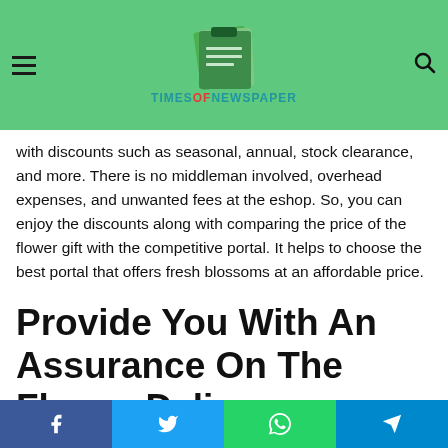TIMESOFNEWSPAPER — navigation header with logo and hamburger menu
purchasing flower gift for your loved one. When using the additional store, they won't reduce the cost and overcharge you. But at MyFlowerTree, they provide you with discounts such as seasonal, annual, stock clearance, and more. There is no middleman involved, overhead expenses, and unwanted fees at the eshop. So, you can enjoy the discounts along with comparing the price of the flower gift with the competitive portal. It helps to choose the best portal that offers fresh blossoms at an affordable price.
Provide You With An Assurance On The Flower Delivery
Getting assurance for the flower bouquet you purchased will
Social share bar: Facebook, Twitter, WhatsApp, Telegram